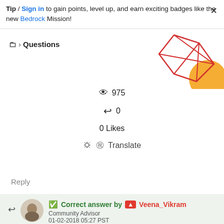Tip / Sign in to gain points, level up, and earn exciting badges like the new Bedrock Mission!
Questions
[Figure (illustration): Decorative geometric graphic with red lines forming a polygon and an orange circle, top right corner]
975
0
0 Likes
Translate
Reply
Correct answer by Veena_Vikram
Community Advisor
01-02-2018 05:27 PST